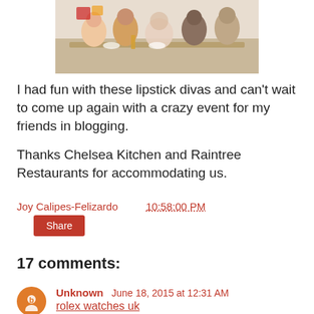[Figure (photo): Group photo of women sitting at a restaurant table, smiling at the camera in what appears to be a food court or casual dining restaurant]
I had fun with these lipstick divas and can't wait to come up again with a crazy event for my friends in blogging.
Thanks Chelsea Kitchen and Raintree Restaurants for accommodating us.
Joy Calipes-Felizardo   10:58:00 PM
Share
17 comments:
Unknown  June 18, 2015 at 12:31 AM
rolex watches uk